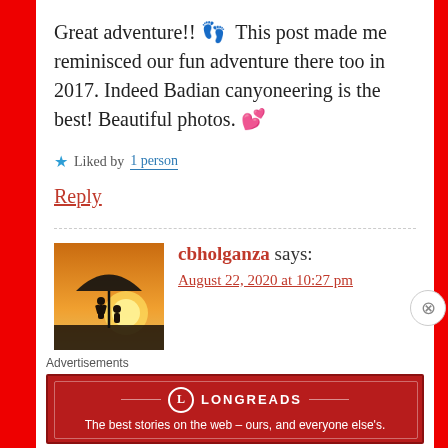Great adventure!! 👣 This post made me reminisced our fun adventure there too in 2017. Indeed Badian canyoneering is the best! Beautiful photos. 💕
★ Liked by 1 person
Reply
cbholganza says:
August 22, 2020 at 10:27 pm
[Figure (photo): Avatar thumbnail showing silhouette of two people under umbrella at sunset]
Advertisements
[Figure (logo): Longreads advertisement banner — red background with logo and tagline: The best stories on the web — ours, and everyone else's.]